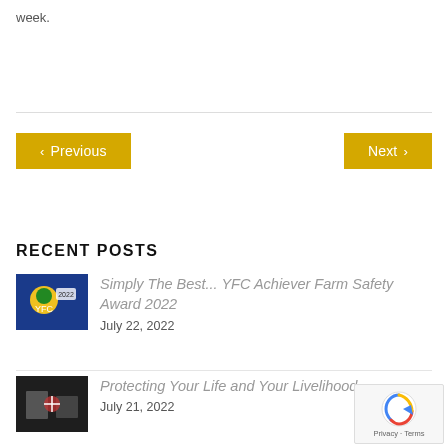week.
< Previous
Next >
RECENT POSTS
Simply The Best... YFC Achiever Farm Safety Award 2022
July 22, 2022
Protecting Your Life and Your Livelihood
July 21, 2022